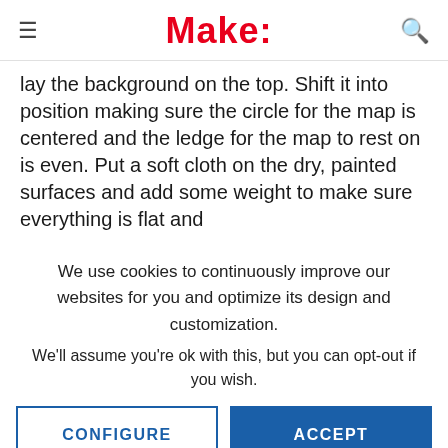Make:
lay the background on the top. Shift it into position making sure the circle for the map is centered and the ledge for the map to rest on is even. Put a soft cloth on the dry, painted surfaces and add some weight to make sure everything is flat and
We use cookies to continuously improve our websites for you and optimize its design and customization.
We'll assume you're ok with this, but you can opt-out if you wish.
CONFIGURE
ACCEPT